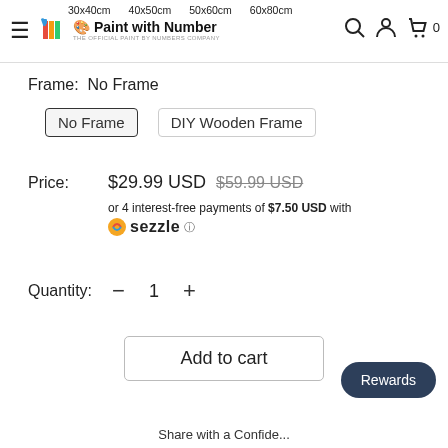30x40cm  40x50cm  50x60cm  60x80cm  Paint with Number THE OFFICIAL PAINT BY NUMBERS COMPANY
Frame: No Frame
No Frame   DIY Wooden Frame
Price: $29.99 USD  $59.99 USD  or 4 interest-free payments of $7.50 USD with Sezzle
Quantity: - 1 +
Add to cart
Rewards